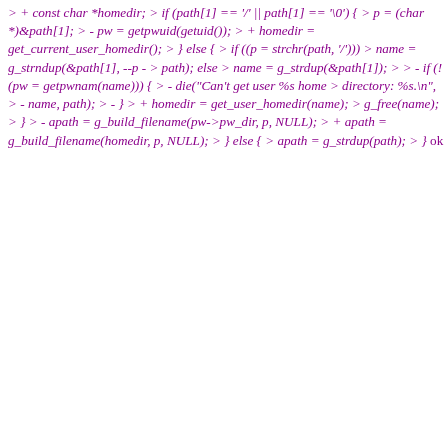> + const char *homedir;
> if (path[1] == '/' || path[1] == '\0') {
> p = (char *)&path[1];
> - pw = getpwuid(getuid());
> + homedir = get_current_user_homedir();
> } else {
> if ((p = strchr(path, '/')))
> name = g_strndup(&path[1], --p -
> path); else
> name = g_strdup(&path[1]);
>
> - if (!(pw = getpwnam(name))) {
> - die("Can't get user %s home
> directory: %s.\n",
> - name, path);
> - }
> + homedir = get_user_homedir(name);
> g_free(name);
> }
> - apath = g_build_filename(pw->pw_dir, p, NULL);
> + apath = g_build_filename(homedir, p, NULL);
> } else {
> apath = g_strdup(path);
> }
ok